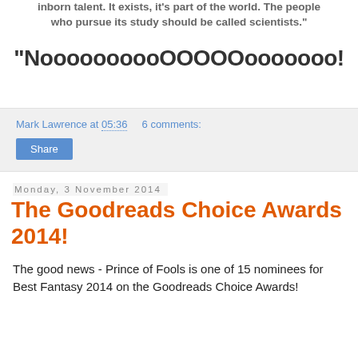inborn talent. It exists, it's part of the world. The people who pursue its study should be called scientists."
"NoooooooooOOOOOooooooo!
Mark Lawrence at 05:36   6 comments:
Share
Monday, 3 November 2014
The Goodreads Choice Awards 2014!
The good news - Prince of Fools is one of 15 nominees for Best Fantasy 2014 on the Goodreads Choice Awards!